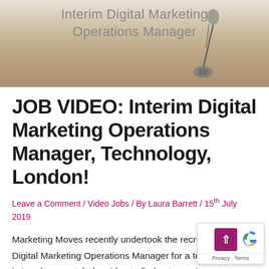[Figure (photo): Hero image showing a microphone stand on a wooden floor with text overlay reading 'Interim Digital Marketing Operations Manager']
JOB VIDEO: Interim Digital Marketing Operations Manager, Technology, London!
Leave a Comment / Video Jobs / By Laura Barrett / 15th July 2019
Marketing Moves recently undertook the recruitment of a Interim Digital Marketing Operations Manager for a technology co in London – watch the video to find out more!